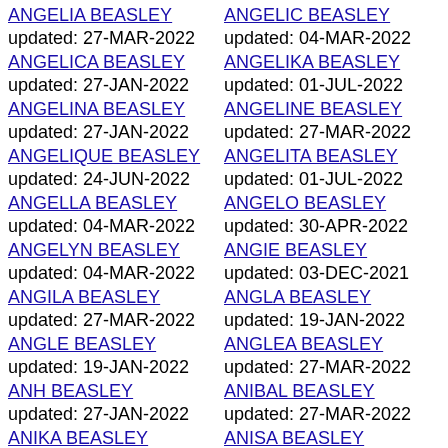ANGELIA BEASLEY
updated: 27-MAR-2022
ANGELICA BEASLEY
updated: 27-JAN-2022
ANGELINA BEASLEY
updated: 27-JAN-2022
ANGELIQUE BEASLEY
updated: 24-JUN-2022
ANGELLA BEASLEY
updated: 04-MAR-2022
ANGELYN BEASLEY
updated: 04-MAR-2022
ANGILA BEASLEY
updated: 27-MAR-2022
ANGLE BEASLEY
updated: 19-JAN-2022
ANH BEASLEY
updated: 27-JAN-2022
ANIKA BEASLEY
updated: 19-JAN-2022
ANGELIC BEASLEY
updated: 04-MAR-2022
ANGELIKA BEASLEY
updated: 01-JUL-2022
ANGELINE BEASLEY
updated: 27-MAR-2022
ANGELITA BEASLEY
updated: 01-JUL-2022
ANGELO BEASLEY
updated: 30-APR-2022
ANGIE BEASLEY
updated: 03-DEC-2021
ANGLA BEASLEY
updated: 19-JAN-2022
ANGLEA BEASLEY
updated: 27-MAR-2022
ANIBAL BEASLEY
updated: 27-MAR-2022
ANISA BEASLEY
updated: 19-JAN-2022